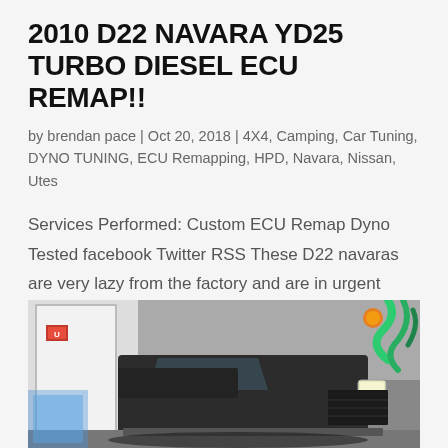2010 D22 NAVARA YD25 TURBO DIESEL ECU REMAP!!
by brendan pace | Oct 20, 2018 | 4X4, Camping, Car Tuning, DYNO TUNING, ECU Remapping, HPD, Navara, Nissan, Utes
Services Performed: Custom ECU Remap Dyno Tested facebook Twitter RSS These D22 navaras are very lazy from the factory and are in urgent need of a more drivable tune installed. We custom tuned this navara on our in house chassis dyno then finished it up on the road to...
[Figure (photo): Photograph of a vehicle (Nissan Navara D22) on a chassis dyno in a workshop. The image shows the front/side of a dark coloured ute on a lift or dyno rollers inside a workshop. Green hoses or equipment visible in the background upper right.]